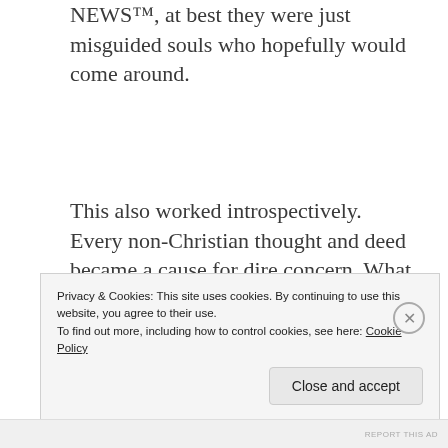NEWS™, at best they were just misguided souls who hopefully would come around.
This also worked introspectively. Every non-Christian thought and deed became a cause for dire concern. What if I didn't mean it when I asked Jesus into my heart? What if I'm actually a terrible person who's capable of lying to himself? What if there's no salvation
Privacy & Cookies: This site uses cookies. By continuing to use this website, you agree to their use.
To find out more, including how to control cookies, see here: Cookie Policy
Close and accept
REPORT THIS AD